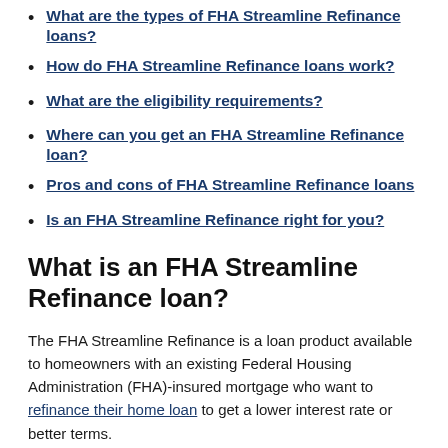What are the types of FHA Streamline Refinance loans?
How do FHA Streamline Refinance loans work?
What are the eligibility requirements?
Where can you get an FHA Streamline Refinance loan?
Pros and cons of FHA Streamline Refinance loans
Is an FHA Streamline Refinance right for you?
What is an FHA Streamline Refinance loan?
The FHA Streamline Refinance is a loan product available to homeowners with an existing Federal Housing Administration (FHA)-insured mortgage who want to refinance their home loan to get a lower interest rate or better terms.
The streamline aspect refers to the limited amount of